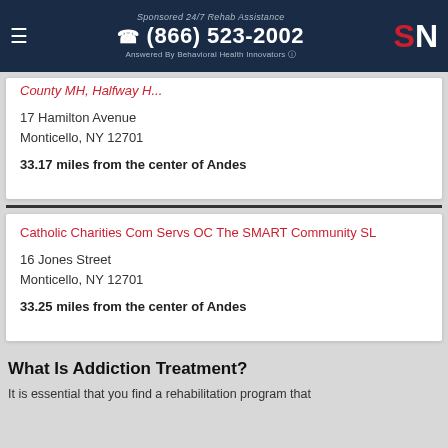Sponsored 24/7 Rehab Assistance | (866) 523-2002 | Answered By Behavioral Health Innovators
17 Hamilton Avenue
Monticello, NY 12701
33.17 miles from the center of Andes
Catholic Charities Com Servs OC The SMART Community SL
16 Jones Street
Monticello, NY 12701
33.25 miles from the center of Andes
What Is Addiction Treatment?
It is essential that you find a rehabilitation program that